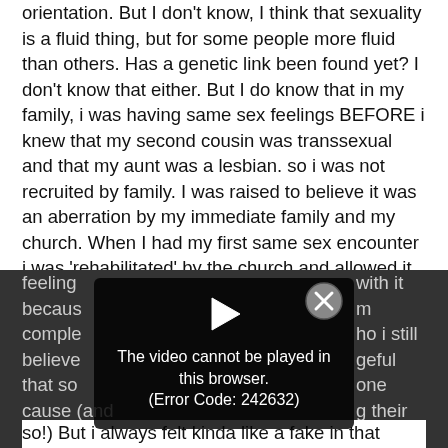orientation. But I don't know, I think that sexuality is a fluid thing, but for some people more fluid than others. Has a genetic link been found yet? I don't know that either. But I do know that in my family, i was having same sex feelings BEFORE i knew that my second cousin was transsexual and that my aunt was a lesbian. so i was not recruited by family. I was raised to believe it was an aberration by my immediate family and my church. When I had my first same sex encounter i was 'rehabilitated' by the church and allowed it out of an understandable desire to belong in a world that was all i knew. The feeling[s] [I dealt] with it becaus[e I tried to be] co[mplete] [w]ho i still believe[d in,] [it was a chan]geful one that so[me people feel is da]g their cause (and theirs done of course, coz God told me so!) But i always felt kinda like a fake in that world.
[Figure (screenshot): A video player error overlay showing 'The video cannot be played in this browser. (Error Code: 242632)' with a play button icon and a close (X) button, overlaid on a dark background with partially visible outdoor scene.]